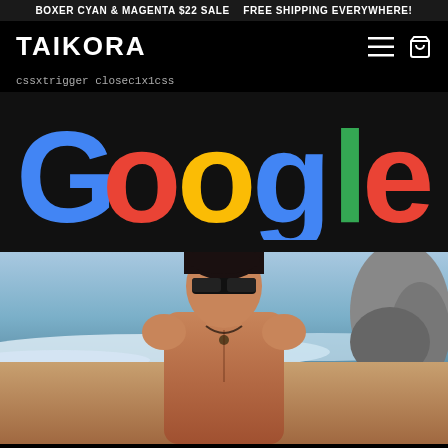BOXER CYAN & MAGENTA $22 SALE   FREE SHIPPING EVERYWHERE!
[Figure (logo): TAIKORA brand logo in white bold text on black background, with hamburger menu icon and cart icon on the right]
cssxtrigger closec1x1css
[Figure (logo): Google logo displayed in large colorful letters: G in blue, first o in red, second o in yellow, g in blue, l in green, e in red, on dark background]
[Figure (photo): Photo of a shirtless athletic Asian man wearing dark sunglasses and a necklace, at a beach with ocean waves and rocks in the background]